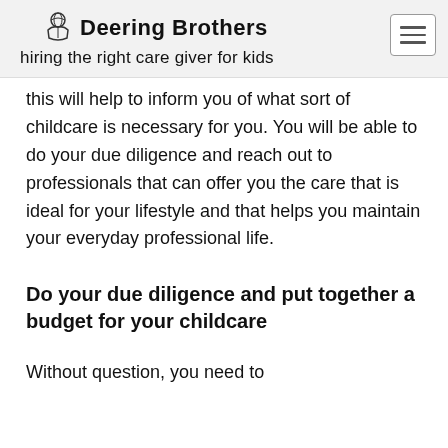Deering Brothers | hiring the right care giver for kids
this will help to inform you of what sort of childcare is necessary for you. You will be able to do your due diligence and reach out to professionals that can offer you the care that is ideal for your lifestyle and that helps you maintain your everyday professional life.
Do your due diligence and put together a budget for your childcare
Without question, you need to